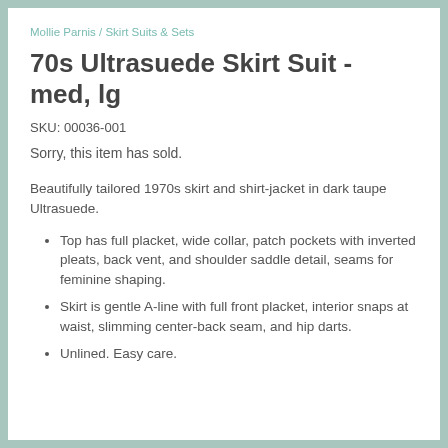Mollie Parnis / Skirt Suits & Sets
70s Ultrasuede Skirt Suit - med, lg
SKU: 00036-001
Sorry, this item has sold.
Beautifully tailored 1970s skirt and shirt-jacket in dark taupe Ultrasuede.
Top has full placket, wide collar, patch pockets with inverted pleats, back vent, and shoulder saddle detail, seams for feminine shaping.
Skirt is gentle A-line with full front placket, interior snaps at waist, slimming center-back seam, and hip darts.
Unlined. Easy care.